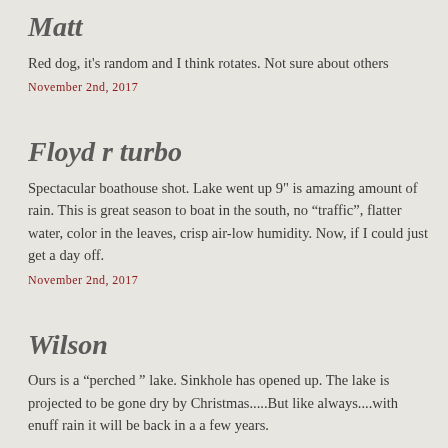Matt
Red dog, it's random and I think rotates. Not sure about others
November 2nd, 2017
Floyd r turbo
Spectacular boathouse shot. Lake went up 9" is amazing amount of rain. This is great season to boat in the south, no "traffic", flatter water, color in the leaves, crisp air-low humidity. Now, if I could just get a day off.
November 2nd, 2017
Wilson
Ours is a "perched" lake. Sinkhole has opened up. The lake is projected to be gone dry by Christmas.....But like always....with enuff rain it will be back in a a few years.